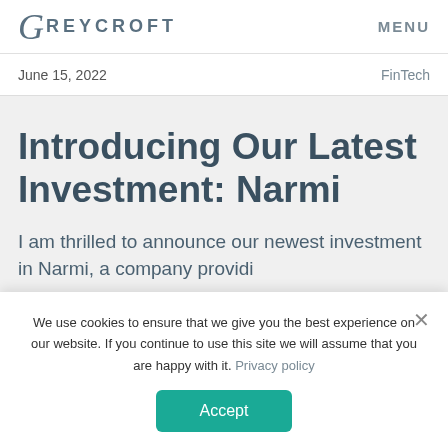GREYCROFT  MENU
June 15, 2022  FinTech
Introducing Our Latest Investment: Narmi
I am thrilled to announce our newest investment in Narmi, a company providi—
We use cookies to ensure that we give you the best experience on our website. If you continue to use this site we will assume that you are happy with it. Privacy policy
Accept